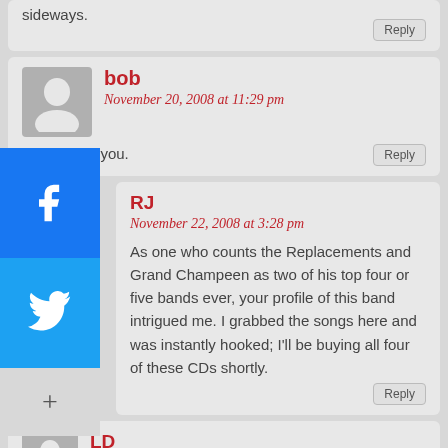sideways.
Reply
bob
November 20, 2008 at 11:29 pm
wow. thank you.
Reply
RJ
November 22, 2008 at 3:28 pm
As one who counts the Replacements and Grand Champeen as two of his top four or five bands ever, your profile of this band intrigued me. I grabbed the songs here and was instantly hooked; I'll be buying all four of these CDs shortly.
Reply
LD